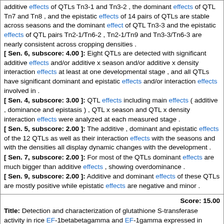additive effects of QTLs Tn3-1 and Tn3-2 , the dominant effects of QTL Tn7 and Tn8 , and the epistatic effects of 14 pairs of QTLs are stable across seasons and the dominant effect of QTL Tn3-3 and the epistatic effects of QTL pairs Tn2-1/Tn6-2 , Tn2-1/Tn9 and Tn3-3/Tn6-3 are nearly consistent across cropping densities .
[ Sen. 6, subscore: 4.00 ]: Eight QTLs are detected with significant additive effects and/or additive x season and/or additive x density interaction effects at least at one developmental stage , and all QTLs have significant dominant and epistatic effects and/or interaction effects involved in .
[ Sen. 4, subscore: 3.00 ]: QTL effects including main effects ( additive , dominance and epistasis ) , QTL x season and QTL x density interaction effects were analyzed at each measured stage .
[ Sen. 5, subscore: 2.00 ]: The additive , dominant and epistatic effects of the 12 QTLs as well as their interaction effects with the seasons and with the densities all display dynamic changes with the development .
[ Sen. 7, subscore: 2.00 ]: For most of the QTLs dominant effects are much bigger than additive effects , showing overdominance .
[ Sen. 9, subscore: 2.00 ]: Additive and dominant effects of these QTLs are mostly positive while epistatic effects are negative and minor .
Score: 15.00
Title: Detection and characterization of glutathione S-transferase activity in rice EF-1betabetagamma and EF-1gamma expressed in Escherichia coli .
Author: Kobayashi S Kidou S Ejiri S
Journal: Biochem . Biophys . Res . Commun .
Literature: oryza Field: abstract Doc ID: pub11676472
Matching Sentences: